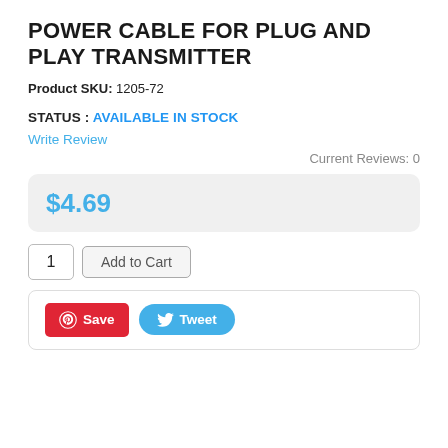POWER CABLE FOR PLUG AND PLAY TRANSMITTER
Product SKU: 1205-72
STATUS : AVAILABLE IN STOCK
Write Review
Current Reviews: 0
$4.69
1   Add to Cart
Save  Tweet